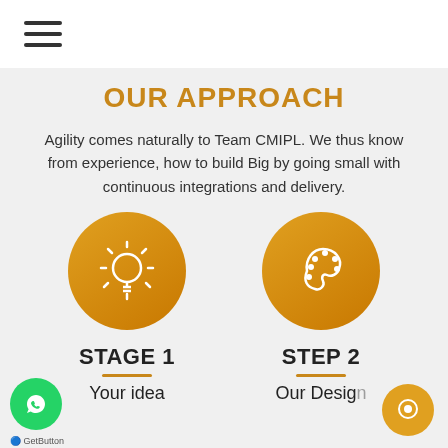hamburger menu icon
OUR APPROACH
Agility comes naturally to Team CMIPL. We thus know from experience, how to build Big by going small with continuous integrations and delivery.
[Figure (illustration): Two circular golden/amber icons side by side: left circle contains a lightbulb with rays icon, right circle contains a painter's palette icon]
STAGE 1 — Your idea
STEP 2 — Our Design
[Figure (illustration): Green WhatsApp button (bottom left) and orange chat button (bottom right), with GetButton label]